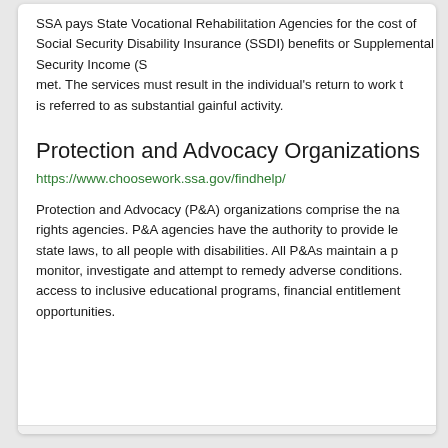SSA pays State Vocational Rehabilitation Agencies for the cost of Social Security Disability Insurance (SSDI) benefits or Supplemental Security Income (SSI) if certain conditions are met. The services must result in the individual's return to work at a level the Social Security is referred to as substantial gainful activity.
Protection and Advocacy Organizations
https://www.choosework.ssa.gov/findhelp/
Protection and Advocacy (P&A) organizations comprise the nation's largest provider of rights agencies. P&A agencies have the authority to provide legal representation under state laws, to all people with disabilities. All P&As maintain a program or system to monitor, investigate and attempt to remedy adverse conditions. P&As can assist with access to inclusive educational programs, financial entitlements, and employment opportunities.